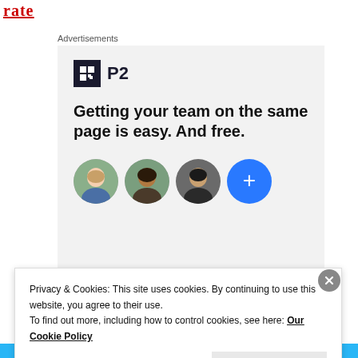rate
Advertisements
[Figure (infographic): P2 advertisement banner with logo, headline 'Getting your team on the same page is easy. And free.' and three person avatars plus a blue plus button]
Privacy & Cookies: This site uses cookies. By continuing to use this website, you agree to their use.
To find out more, including how to control cookies, see here: Our Cookie Policy
Close and accept